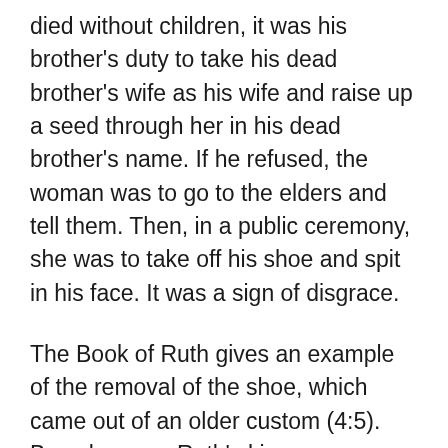died without children, it was his brother's duty to take his dead brother's wife as his wife and raise up a seed through her in his dead brother's name. If he refused, the woman was to go to the elders and tell them. Then, in a public ceremony, she was to take off his shoe and spit in his face. It was a sign of disgrace.
The Book of Ruth gives an example of the removal of the shoe, which came out of an older custom (4:5). Boaz became Ruth's kinsman-redeemer, and to seal the covenant he took off his shoe (4:8). He then purchased Ruth to be his wife and raised up seed for her dead husband's inheritance. It is a picture of